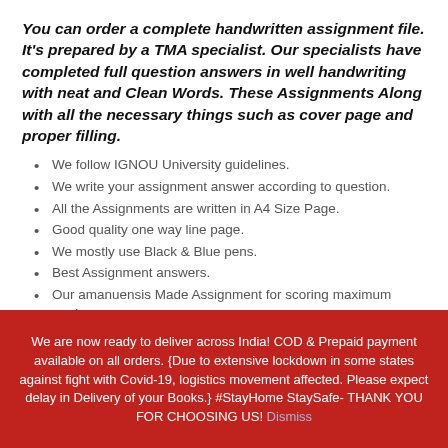You can order a complete handwritten assignment file. It's prepared by a TMA specialist. Our specialists have completed full question answers in well handwriting with neat and Clean Words. These Assignments Along with all the necessary things such as cover page and proper filling.
We follow IGNOU University guidelines.
We write your assignment answer according to question.
All the Assignments are written in A4 Size Page.
Good quality one way line page.
We mostly use Black & Blue pens.
Best Assignment answers.
Our amanuensis Made Assignment for scoring maximum marks.
It takes 2-3 days for writing Per Subject Assignment.
We are now ready to deliver across India! COD & Prepaid payment available on all orders. {Due to extensive lockdown in some states against fight with Covid-19, logistics movement affected. Please expect delay in Delivery of your Books.} #StayHome StaySafe- THANK YOU FOR CHOOSING US! Dismiss